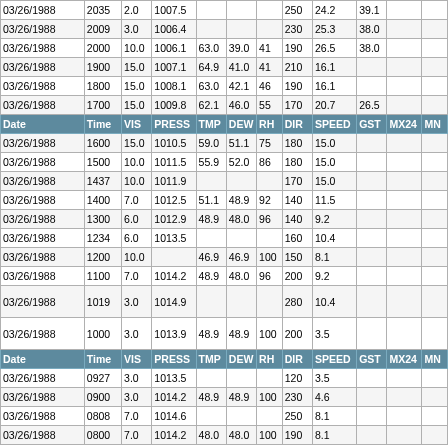| Date | Time | VIS | PRESS | TMP | DEW | RH | DIR | SPEED | GST | MX24 | MN |
| --- | --- | --- | --- | --- | --- | --- | --- | --- | --- | --- | --- |
| 03/26/1988 | 2035 | 2.0 | 1007.5 |  |  |  | 250 | 24.2 | 39.1 |  |  |
| 03/26/1988 | 2009 | 3.0 | 1006.4 |  |  |  | 230 | 25.3 | 38.0 |  |  |
| 03/26/1988 | 2000 | 10.0 | 1006.1 | 63.0 | 39.0 | 41 | 190 | 26.5 | 38.0 |  |  |
| 03/26/1988 | 1900 | 15.0 | 1007.1 | 64.9 | 41.0 | 41 | 210 | 16.1 |  |  |  |
| 03/26/1988 | 1800 | 15.0 | 1008.1 | 63.0 | 42.1 | 46 | 190 | 16.1 |  |  |  |
| 03/26/1988 | 1700 | 15.0 | 1009.8 | 62.1 | 46.0 | 55 | 170 | 20.7 | 26.5 |  |  |
| HEADER |
| 03/26/1988 | 1600 | 15.0 | 1010.5 | 59.0 | 51.1 | 75 | 180 | 15.0 |  |  |  |
| 03/26/1988 | 1500 | 10.0 | 1011.5 | 55.9 | 52.0 | 86 | 180 | 15.0 |  |  |  |
| 03/26/1988 | 1437 | 10.0 | 1011.9 |  |  |  | 170 | 15.0 |  |  |  |
| 03/26/1988 | 1400 | 7.0 | 1012.5 | 51.1 | 48.9 | 92 | 140 | 11.5 |  |  |  |
| 03/26/1988 | 1300 | 6.0 | 1012.9 | 48.9 | 48.0 | 96 | 140 | 9.2 |  |  |  |
| 03/26/1988 | 1234 | 6.0 | 1013.5 |  |  |  | 160 | 10.4 |  |  |  |
| 03/26/1988 | 1200 | 10.0 |  | 46.9 | 46.9 | 100 | 150 | 8.1 |  |  |  |
| 03/26/1988 | 1100 | 7.0 | 1014.2 | 48.9 | 48.0 | 96 | 200 | 9.2 |  |  |  |
| 03/26/1988 | 1019 | 3.0 | 1014.9 |  |  |  | 280 | 10.4 |  |  |  |
| 03/26/1988 | 1000 | 3.0 | 1013.9 | 48.9 | 48.9 | 100 | 200 | 3.5 |  |  |  |
| HEADER |
| 03/26/1988 | 0927 | 3.0 | 1013.5 |  |  |  | 120 | 3.5 |  |  |  |
| 03/26/1988 | 0900 | 3.0 | 1014.2 | 48.9 | 48.9 | 100 | 230 | 4.6 |  |  |  |
| 03/26/1988 | 0808 | 7.0 | 1014.6 |  |  |  | 250 | 8.1 |  |  |  |
| 03/26/1988 | 0800 | 7.0 | 1014.2 | 48.0 | 48.0 | 100 | 190 | 8.1 |  |  |  |